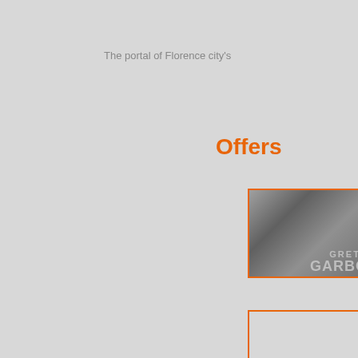The portal of Florence city's
Offers
[Figure (photo): Black and white photo of Greta Garbo with text overlay reading GRETA GARBO, framed in orange border]
Gret
Until A unique Great Ferra
[Figure (photo): Empty orange-bordered image placeholder for second offer item]
The
(Now disco pictur Cernia sculpt